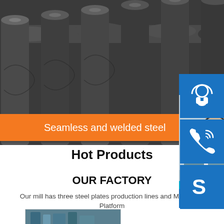[Figure (photo): Steel pipes stacked together in a warehouse or factory setting]
Seamless and welded steel
[Figure (photo): Customer service representative smiling with headset, with 24/7 hour chat panel and icons for headset, phone, and Skype with Click to chat button]
Hot Products
OUR FACTORY
Our mill has three steel plates production lines and Machining Platform
[Figure (photo): Factory interior showing industrial machinery and equipment]